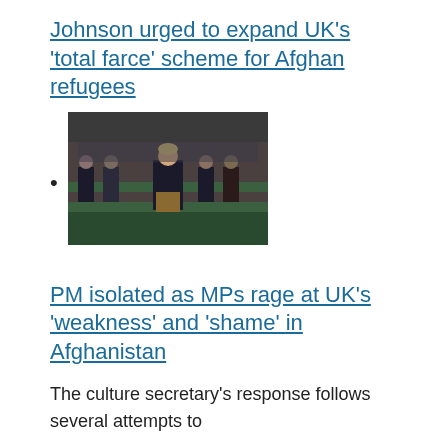Johnson urged to expand UK's 'total farce' scheme for Afghan refugees
[Figure (photo): Photo of Boris Johnson speaking in the House of Commons, surrounded by MPs]
PM isolated as MPs rage at UK's 'weakness' and 'shame' in Afghanistan
The culture secretary's response follows several attempts to